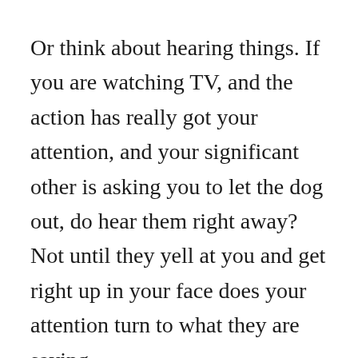Or think about hearing things. If you are watching TV, and the action has really got your attention, and your significant other is asking you to let the dog out, do hear them right away? Not until they yell at you and get right up in your face does your attention turn to what they are saying.
So, you're strolling through the forest and it's cold, or it's hot, or the bugs are